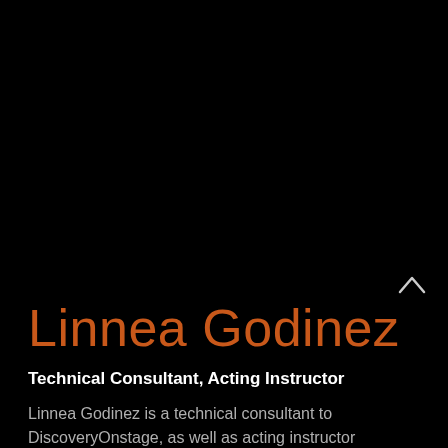[Figure (photo): Dark background portrait photo of Linnea Godinez, mostly black/very dark image occupying the upper portion of the page]
Linnea Godinez
Technical Consultant, Acting Instructor
Linnea Godinez is a technical consultant to DiscoveryOnstage, as well as acting instructor